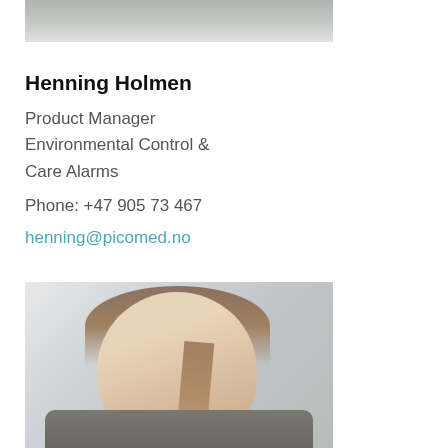[Figure (photo): Cropped top portion of a person's photo, showing shoulders and lower face area, wearing a grey cardigan.]
Henning Holmen
Product Manager
Environmental Control &
Care Alarms
Phone: +47 905 73 467
henning@picomed.no
[Figure (photo): Portrait photo of a young woman with hair pulled back, wearing gold hoop earrings and a dark turtleneck, smiling.]